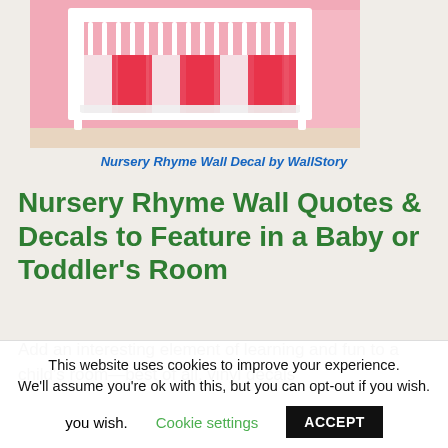[Figure (photo): A white baby crib with pink floral bedding set against a pink wall in a nursery room]
Nursery Rhyme Wall Decal by WallStory
Nursery Rhyme Wall Quotes & Decals to Feature in a Baby or Toddler's Room
Add an interesting element of learning and fun to a child's room—best of all, vinyl decals
This website uses cookies to improve your experience. We'll assume you're ok with this, but you can opt-out if you wish. Cookie settings ACCEPT